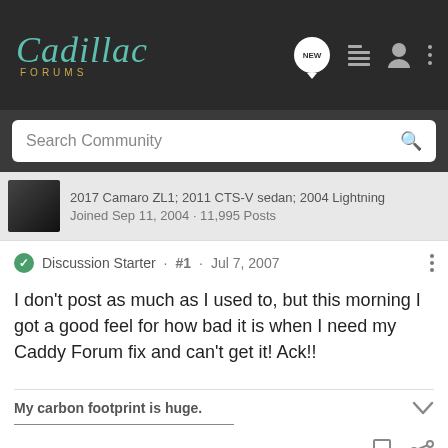Cadillac Forums
Search Community
2017 Camaro ZL1; 2011 CTS-V sedan; 2004 Lightning
Joined Sep 11, 2004 · 11,995 Posts
Discussion Starter · #1 · Jul 7, 2007
I don't post as much as I used to, but this morning I got a good feel for how bad it is when I need my Caddy Forum fix and can't get it! Ack!!
My carbon footprint is huge.